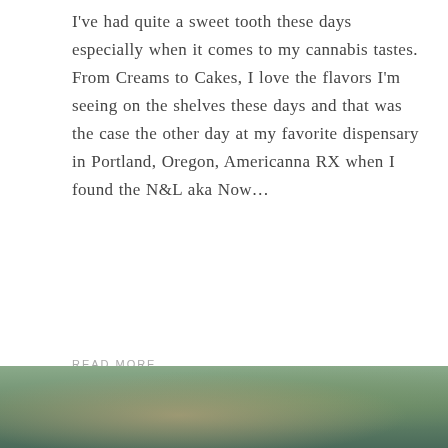I've had quite a sweet tooth these days especially when it comes to my cannabis tastes. From Creams to Cakes, I love the flavors I'm seeing on the shelves these days and that was the case the other day at my favorite dispensary in Portland, Oregon, Americanna RX when I found the N&L aka Now…
READ MORE
SHARE THIS:
Like this:
Loading…
[Figure (photo): Close-up photo of what appears to be a cannabis product container or jar, with muted green and beige tones]